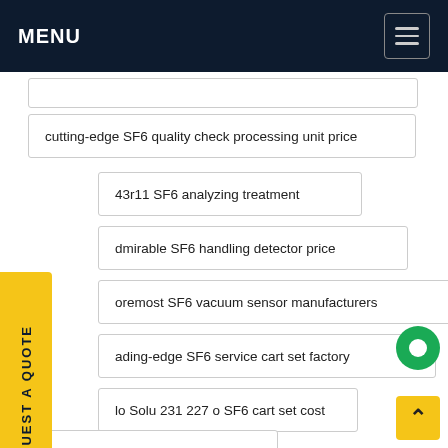MENU
cutting-edge SF6 quality check processing unit price
43r11 SF6 analyzing treatment
dmirable SF6 handling detector price
oremost SF6 vacuum sensor manufacturers
ading-edge SF6 service cart set factory
lo Solu 231 227 o SF6 cart set cost
choice Service SF6 valves prices
extreme SF6 fill system price